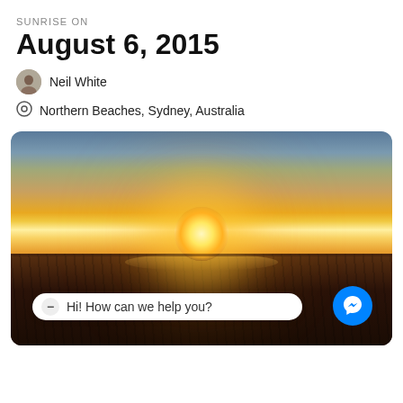SUNRISE ON
August 6, 2015
Neil White
Northern Beaches, Sydney, Australia
[Figure (photo): Sunrise photo over Northern Beaches, Sydney, Australia. A bright sun sits on the horizon with orange and golden light radiating outward. Dark silhouetted ground and vegetation in the foreground. A chat widget overlay reads 'Hi! How can we help you?' with a Messenger button.]